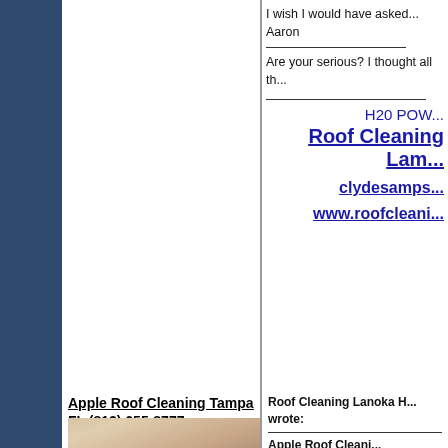I wish I would have asked...
Aaron
Are your serious? I thought all th...
H20 POW
Roof Cleaning Lam
clydesamps
www.roofcleani
Apple Roof Cleaning Tampa FL (813) 655-8777
[Figure (photo): Photo of two people, a woman with blonde hair and a man with short grey/white hair]
Roof Cleaning Lanoka H... wrote:
Apple Roof Cleani...